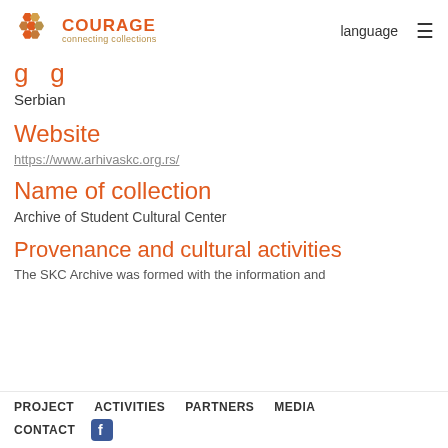COURAGE connecting collections | language ≡
Website
https://www.arhivaskc.org.rs/
Name of collection
Archive of Student Cultural Center
Provenance and cultural activities
The SKC Archive was formed with the information and...
PROJECT   ACTIVITIES   PARTNERS   MEDIA   CONTACT